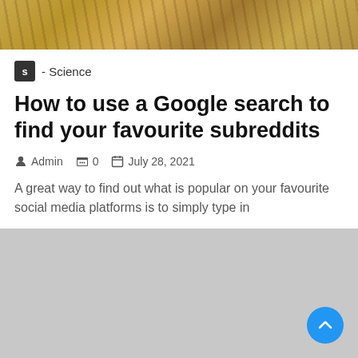[Figure (photo): Hero image with warm golden-brown autumn tones, blurred foliage background]
S - Science
How to use a Google search to find your favourite subreddits
Admin  0  July 28, 2021
A great way to find out what is popular on your favourite social media platforms is to simply type in
[Figure (other): Gray advertisement/content placeholder block with blue scroll-to-top button in bottom right corner]